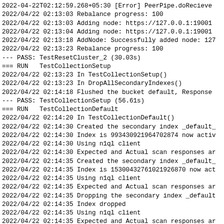2022-04-22T02:12:59.268+05:30 [Error] PeerPipe.doRecieve
2022/04/22 02:13:03 Rebalance progress: 100
2022/04/22 02:13:03 Adding node: https://127.0.0.1:19001
2022/04/22 02:13:04 Adding node: https://127.0.0.1:19001
2022/04/22 02:13:18 AddNode: Successfully added node: 127
2022/04/22 02:13:23 Rebalance progress: 100
--- PASS: TestResetCluster_2 (30.03s)
=== RUN   TestCollectionSetup
2022/04/22 02:13:23 In TestCollectionSetup()
2022/04/22 02:13:23 In DropAllSecondaryIndexes()
2022/04/22 02:14:18 Flushed the bucket default, Response
--- PASS: TestCollectionSetup (56.61s)
=== RUN   TestCollectionDefault
2022/04/22 02:14:20 In TestCollectionDefault()
2022/04/22 02:14:30 Created the secondary index _default_
2022/04/22 02:14:30 Index is 993430921964702874 now activ
2022/04/22 02:14:30 Using n1ql client
2022/04/22 02:14:30 Expected and Actual scan responses ar
2022/04/22 02:14:35 Created the secondary index _default_
2022/04/22 02:14:35 Index is 15300432761021926870 now act
2022/04/22 02:14:35 Using n1ql client
2022/04/22 02:14:35 Expected and Actual scan responses ar
2022/04/22 02:14:35 Dropping the secondary index _default
2022/04/22 02:14:35 Index dropped
2022/04/22 02:14:35 Using n1ql client
2022/04/22 02:14:35 Expected and Actual scan responses ar
2022/04/22 02:14:39 Created the secondary index _default_
2022/04/22 02:14:39 Index is 15510442838666202312 now act
2022/04/22 02:14:39 Using n1ql client
2022/04/22 02:14:39 Expected and Actual scan responses ar